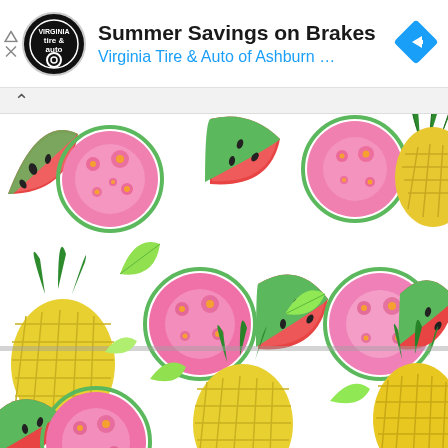[Figure (screenshot): Advertisement banner for Virginia Tire & Auto of Ashburn showing 'Summer Savings on Brakes' with the company logo (circular black and white tire & auto logo), a blue navigation arrow icon on the right, and a sponsored indicator on the left side with triangle and X icons.]
[Figure (illustration): Colorful summer fruit pattern illustration featuring watermelon slices (red with black seeds), pineapples (yellow with green tops and diamond grid texture), pink circular fruits (dragon fruit or similar with orange spots), and green leaves scattered throughout on a white background. A thin horizontal divider line crosses the image about two-thirds down, suggesting a scrollable content area boundary.]